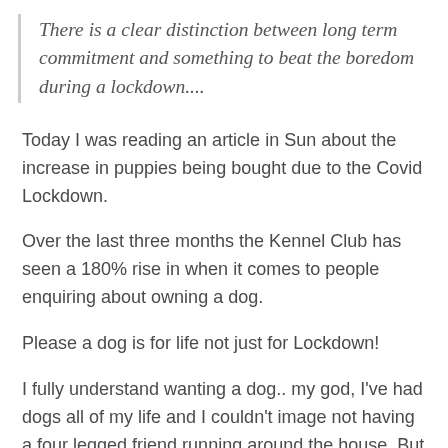There is a clear distinction between long term commitment and something to beat the boredom during a lockdown....
Today I was reading an article in Sun about the increase in puppies being bought due to the Covid Lockdown.
Over the last three months the Kennel Club has seen a 180% rise in when it comes to people enquiring about owning a dog.
Please a dog is for life not just for Lockdown!
I fully understand wanting a dog.. my god, I've had dogs all of my life and I couldn't image not having a four legged friend running around the house. But they are a huge commitment. And they are costly, especially when